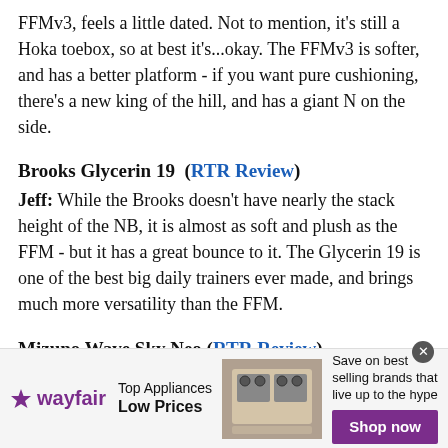FFMv3, feels a little dated. Not to mention, it's still a Hoka toebox, so at best it's...okay. The FFMv3 is softer, and has a better platform - if you want pure cushioning, there's a new king of the hill, and has a giant N on the side.
Brooks Glycerin 19  (RTR Review)
Jeff: While the Brooks doesn't have nearly the stack height of the NB, it is almost as soft and plush as the FFM - but it has a great bounce to it. The Glycerin 19 is one of the best big daily trainers ever made, and brings much more versatility than the FFM.
Mizuno Wave Sky Neo (RTR Review)
Jeff: Both big cushion premium trainers, but they come at it from different angles. NB is softer and has a looser fitting upper, but bottoms out. Mizuno, true to form, is firmer, more responsive, but heavier. If you want exclusively an easy day
[Figure (infographic): Wayfair advertisement banner: wayfair logo on left, 'Top Appliances Low Prices' text, image of kitchen stove, 'Save on best selling brands that live up to the hype' with purple 'Shop now' button]